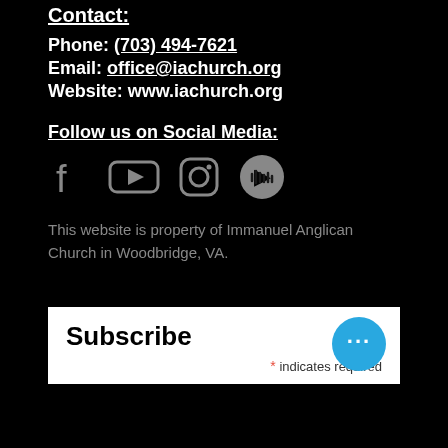Contact:
Phone: (703) 494-7621
Email: office@iachurch.org
Website: www.iachurch.org
Follow us on Social Media:
[Figure (other): Social media icons: Facebook, YouTube, Instagram, SoundCloud]
This website is property of Immanuel Anglican Church in Woodbridge, VA.
Subscribe
* indicates required